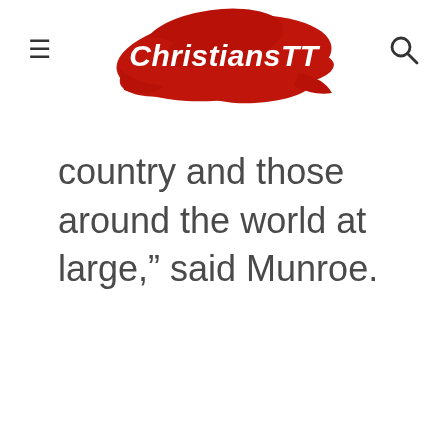ChristiansTT
country and those around the world at large,” said Munroe.